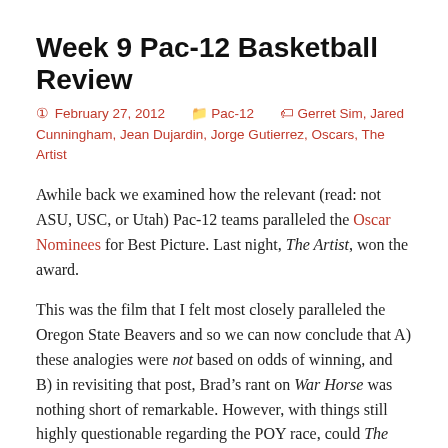Week 9 Pac-12 Basketball Review
February 27, 2012   Pac-12   Gerret Sim, Jared Cunningham, Jean Dujardin, Jorge Gutierrez, Oscars, The Artist
Awhile back we examined how the relevant (read: not ASU, USC, or Utah) Pac-12 teams paralleled the Oscar Nominees for Best Picture. Last night, The Artist, won the award.
This was the film that I felt most closely paralleled the Oregon State Beavers and so we can now conclude that A) these analogies were not based on odds of winning, and B) in revisiting that post, Brad’s rant on War Horse was nothing short of remarkable. However, with things still highly questionable regarding the POY race, could The Artist’s Jean Dujardin’s claiming of the Best Actor award be foreboding for Jared Cunningham?